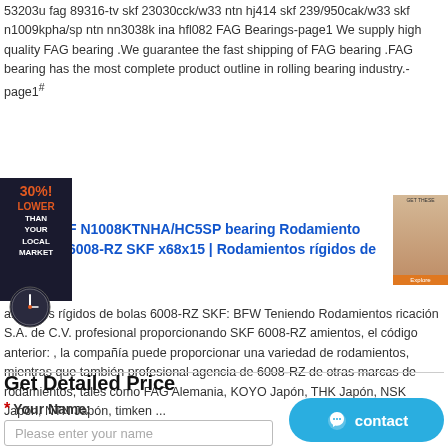53203u fag 89316-tv skf 23030cck/w33 ntn hj414 skf 239/950cak/w33 skf n1009kpha/sp ntn nn3038k ina hfl082 FAG Bearings-page1 We supply high quality FAG bearing .We guarantee the fast shipping of FAG bearing .FAG bearing has the most complete product outline in rolling bearing industry.- page1#
[Figure (infographic): Ad banner: 30% LOWER THAN YOUR LOCAL MARKET with clock icon]
[Figure (photo): Ad photo of a woman with an orange button]
F N1008KTNHA/HC5SP bearing Rodamiento 6008-RZ SKF x68x15 | Rodamientos rígidos de
amientos rígidos de bolas 6008-RZ SKF: BFW Teniendo Rodamientos ricación S.A. de C.V. profesional proporcionando SKF 6008-RZ amientos, el código anterior: , la compañía puede proporcionar una variedad de rodamientos, mientras que también profesional agencia de 6008-RZ de otras marcas de rodamientos, tales como FAG Alemania, KOYO Japón, THK Japón, NSK Japón, NTN Japón, timken ...
Get Detailed Price
* Your Name:
Please enter your name
[Figure (other): Contact button in blue with chat icon]